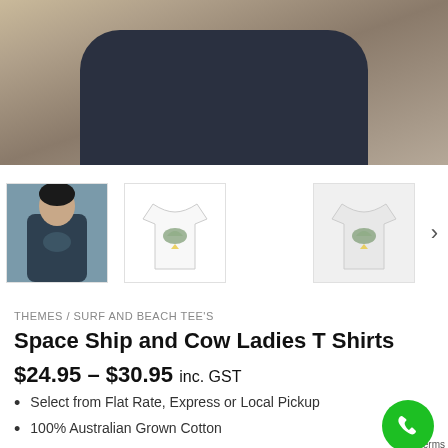[Figure (photo): Close-up photo of a woman wearing a dark navy blue t-shirt, seated, visible from chest to hips, with arms resting on white surface. Wooden headboard visible in background.]
[Figure (photo): Three thumbnail images: 1) Woman in dark teal t-shirt with space ship/cow graphic; 2) White t-shirt with space ship and cow graphic on white background; 3) Light gray t-shirt with same graphic.]
THEMES / SURF AND BEACH TEE'S
Space Ship and Cow Ladies T Shirts
$24.95 – $30.95 inc. GST
Select from Flat Rate, Express or Local Pickup
100% Australian Grown Cotton
Quality tee